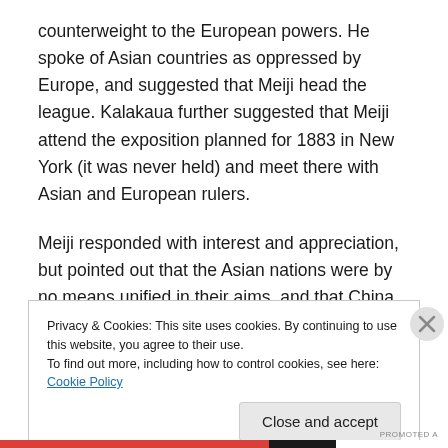counterweight to the European powers. He spoke of Asian countries as oppressed by Europe, and suggested that Meiji head the league. Kalakaua further suggested that Meiji attend the exposition planned for 1883 in New York (it was never held) and meet there with Asian and European rulers.
Meiji responded with interest and appreciation, but pointed out that the Asian nations were by no means unified in their aims, and that China in particular would be unlikely to join such a league. (In fact, Japan was to crush China in
Privacy & Cookies: This site uses cookies. By continuing to use this website, you agree to their use.
To find out more, including how to control cookies, see here: Cookie Policy
Close and accept